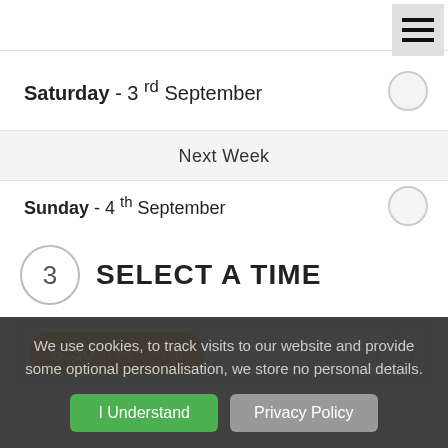Saturday - 3rd September
Next Week
Sunday - 4th September
3 SELECT A TIME
8:30 in the morning
We use cookies, to track visits to our website and provide some optional personalisation, we store no personal details. I Understand Privacy Policy